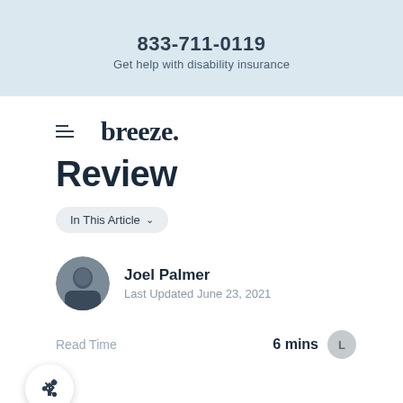833-711-0119
Get help with disability insurance
[Figure (logo): Breeze insurance logo with hamburger menu icon]
Review
In This Article ▾
Joel Palmer
Last Updated June 23, 2021
Read Time   6 mins
With a strong track record of financial